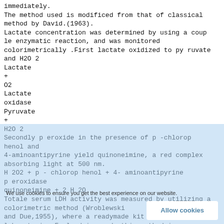immediately.
The method used is modificed from that of classical method by David.(1963).
Lactate concentration was determined by using a couple enzymatic reaction, and was monitored colorimetrically .First lactate oxidized to pyruvate and H2O 2
Lactate
+
O2
Lactate
oxidase
Pyruvate
+
H2O 2
Secondly peroxide in the presence of p-chlorophenol and
4-aminoantipyrine yield quinoneimine, a red complex absorbing light at 500 nm.
H 2O2 + p - chlorop henol + 4- aminoantipyrine
peroxidase
quinoneimine + 2 H 2O
Totale serum LDH activity was measured by utilizing a colorimetric method (Wroblewski
and Due,1955), where a readymade kit from Randox laboratories England is used, this method is based on the reduction of pyruvate to lactate in presence on NADH by the action of LDH.
Py ruvate + NADH + H
LDH
Lactate + NAD+
The pyruvate that remains unchanged reacted with 2,4-dinitrophenyl by drazine to give